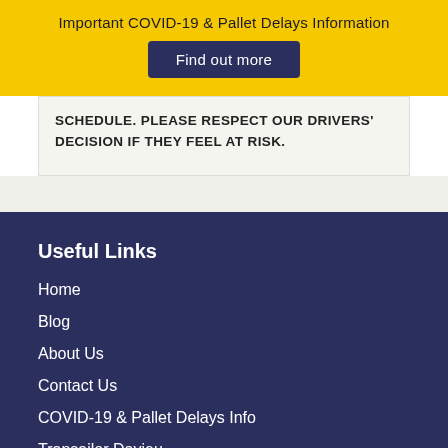Important COVID-19 & Pallet Delays Information
Find out more
SCHEDULE. PLEASE RESPECT OUR DRIVERS' DECISION IF THEY FEEL AT RISK.
Useful Links
Home
Blog
About Us
Contact Us
COVID-19 & Pallet Delays Info
Transailor Daviau